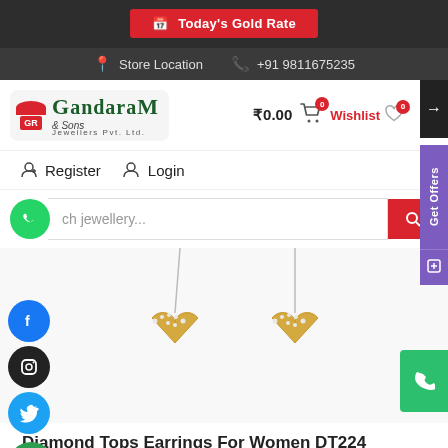Today's Gold Rate
Store Location  +91 9811675235
[Figure (logo): Gandaram & Sons Jewellers Pvt. Ltd. logo with red umbrella icon and GR monogram]
₹0.00  0   Wishlist  0
Register   Login
[Figure (photo): Diamond Tops Earrings for Women - gold heart-shaped earrings with diamond accents shown as a pair]
Diamond Tops Earrings For Women DT224